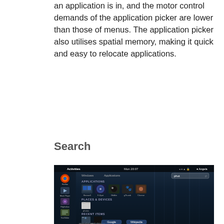an application is in, and the motor control demands of the application picker are lower than those of menus. The application picker also utilises spatial memory, making it quick and easy to relocate applications.
Search
[Figure (screenshot): GNOME Shell Activities overview showing search results for 'phot' with Applications section showing Shotwell, F-Spot, GtkAm, gThumb, Cheese icons; Places & Devices section with Photos folder; Recent Items with camera photo files; Settings with Color Profiles; sidebar showing Firefox, Movie Player, Rhythmbox, Text Editor, Printer, Terminal, Solitaire, Cheese icons; Google and Wikipedia buttons at bottom; top bar showing Activities, Mon 20:07, Angela]